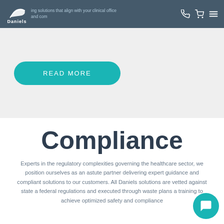Daniels — ing solutions that align with your clinical office and com
READ MORE
Compliance
Experts in the regulatory complexities governing the healthcare sector, we position ourselves as an astute partner delivering expert guidance and compliant solutions to our customers. All Daniels solutions are vetted against state and federal regulations and executed through waste plans and training to achieve optimized safety and compliance